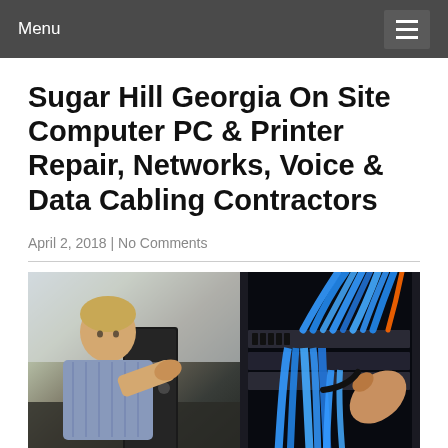Menu
Sugar Hill Georgia On Site Computer PC & Printer Repair, Networks, Voice & Data Cabling Contractors
April 2, 2018 | No Comments
[Figure (photo): Split composite photo: left side shows a technician repairing a desktop PC tower; right side shows a hand plugging blue network cables into a patch panel in a server room.]